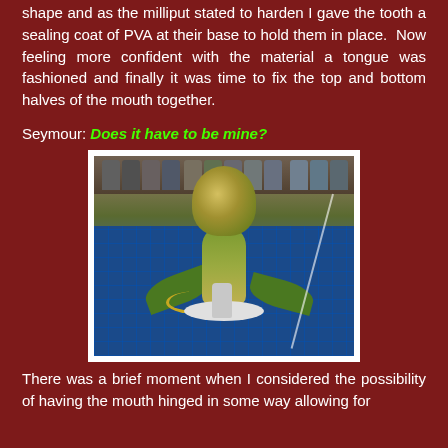shape and as the milliput stated to harden I gave the tooth a sealing coat of PVA at their base to hold them in place. Now feeling more confident with the material a tongue was fashioned and finally it was time to fix the top and bottom halves of the mouth together.
Seymour: Does it have to be mine?
[Figure (photo): A miniature model of a large carnivorous plant (resembling Audrey II from Little Shop of Horrors) on a blue cutting mat with grid lines. The plant has a large bulbous head with green and yellow coloring, a stem, leaves, and yellow tendrils. A small grey humanoid miniature figure stands at its base. Paint bottles are visible on a shelf in the background. A thin wire or thread runs through the image.]
There was a brief moment when I considered the possibility of having the mouth hinged in some way allowing for